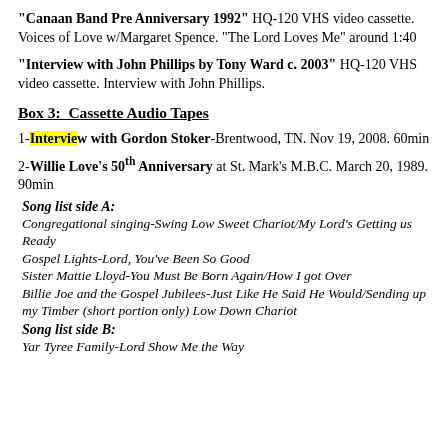"Canaan Band Pre Anniversary 1992" HQ-120 VHS video cassette. Voices of Love w/Margaret Spence. "The Lord Loves Me" around 1:40
"Interview with John Phillips by Tony Ward c. 2003" HQ-120 VHS video cassette. Interview with John Phillips.
Box 3:  Cassette Audio Tapes
1-Interview with Gordon Stoker-Brentwood, TN. Nov 19, 2008. 60min
2-Willie Love's 50th Anniversary at St. Mark's M.B.C. March 20, 1989. 90min
Song list side A:
Congregational singing-Swing Low Sweet Chariot/My Lord's Getting us Ready
Gospel Lights-Lord, You've Been So Good
Sister Mattie Lloyd-You Must Be Born Again/How I got Over
Billie Joe and the Gospel Jubilees-Just Like He Said He Would/Sending up my Timber (short portion only) Low Down Chariot
Song list side B:
Yar Tyree Family-Lord Show Me the Way